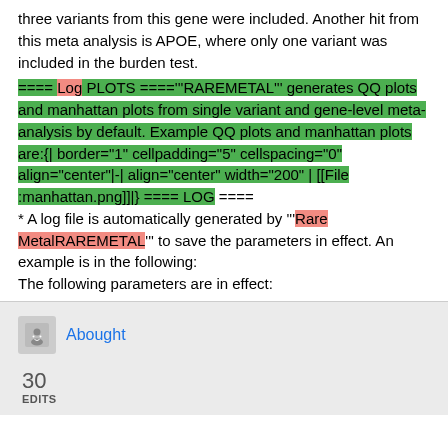three variants from this gene were included. Another hit from this meta analysis is APOE, where only one variant was included in the burden test.
==== Log PLOTS ===='''RAREMETAL''' generates QQ plots and manhattan plots from single variant and gene-level meta-analysis by default. Example QQ plots and manhattan plots are:{| border="1" cellpadding="5" cellspacing="0" align="center"|-| align="center" width="200" | [[File :manhattan.png]]|} ==== LOG ==== * A log file is automatically generated by '''Rare MetalRAREMETAL''' to save the parameters in effect. An example is in the following: The following parameters are in effect:
Abought
30
EDITS